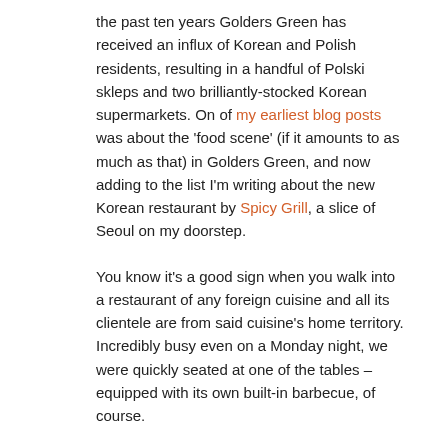the past ten years Golders Green has received an influx of Korean and Polish residents, resulting in a handful of Polski skleps and two brilliantly-stocked Korean supermarkets. On of my earliest blog posts was about the 'food scene' (if it amounts to as much as that) in Golders Green, and now adding to the list I'm writing about the new Korean restaurant by Spicy Grill, a slice of Seoul on my doorstep.
You know it's a good sign when you walk into a restaurant of any foreign cuisine and all its clientele are from said cuisine's home territory. Incredibly busy even on a Monday night, we were quickly seated at one of the tables – equipped with its own built-in barbecue, of course.
Trying to work out what to order from the extensive menu, it became clear that Korean food is far more